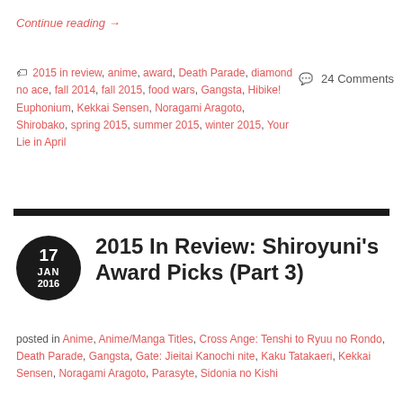Continue reading →
🏷 2015 in review, anime, award, Death Parade, diamond no ace, fall 2014, fall 2015, food wars, Gangsta, Hibike! Euphonium, Kekkai Sensen, Noragami Aragoto, Shirobako, spring 2015, summer 2015, winter 2015, Your Lie in April
💬 24 Comments
2015 In Review: Shiroyuni's Award Picks (Part 3)
posted in Anime, Anime/Manga Titles, Cross Ange: Tenshi to Ryuu no Rondo, Death Parade, Gangsta, Gate: Jieitai Kanochi nite, Kaku Tatakaeri, Kekkai Sensen, Noragami Aragoto, Parasyte, Sidonia no Kishi